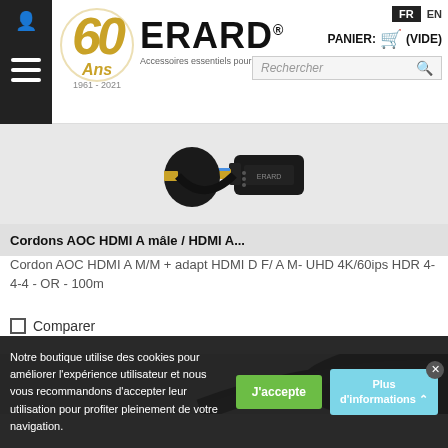ERARD® — Accessoires essentiels pour materiel audio-video — FR EN — PANIER: (VIDE) — Rechercher
[Figure (photo): HDMI cable connectors with gold tips and black housing, showing ERARD branded cable ends]
Cordons AOC HDMI A mâle / HDMI A...
Cordon AOC HDMI A M/M + adapt HDMI D F/ A M- UHD 4K/60ips HDR 4-4-4 - OR - 100m
Comparer
[Figure (photo): Partial view of second product image showing black cable]
Notre boutique utilise des cookies pour améliorer l'expérience utilisateur et nous vous recommandons d'accepter leur utilisation pour profiter pleinement de votre navigation.